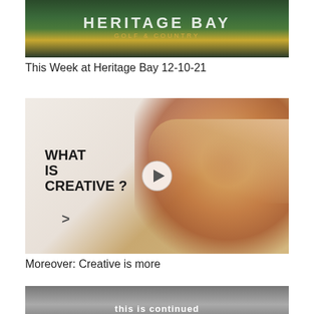[Figure (photo): Aerial or wide-angle photo of Heritage Bay Golf & Country club with text overlay reading 'HERITAGE BAY' and 'GOLF & COUNTRY']
This Week at Heritage Bay 12-10-21
[Figure (photo): Video thumbnail showing hands holding dried flowers with text 'WHAT IS CREATIVE ?' and a play button overlay]
Moreover: Creative is more
[Figure (photo): Partial thumbnail of a third video, partially cropped at bottom of page]